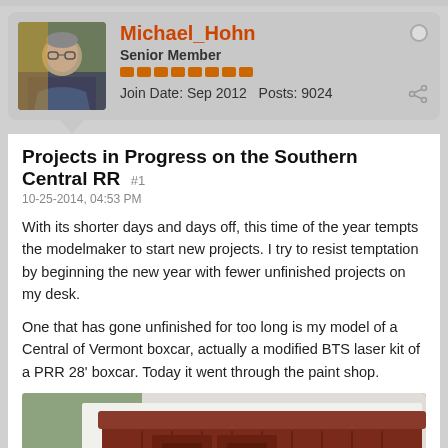Michael_Hohn
Senior Member
Join Date: Sep 2012   Posts: 9024
Projects in Progress on the Southern Central RR  #1
10-25-2014, 04:53 PM
With its shorter days and days off, this time of the year tempts the modelmaker to start new projects. I try to resist temptation by beginning the new year with fewer unfinished projects on my desk.
One that has gone unfinished for too long is my model of a Central of Vermont boxcar, actually a modified BTS laser kit of a PRR 28' boxcar. Today it went through the paint shop.
[Figure (photo): Photo of a model railroad boxcar (dark red/maroon) on a white surface, with model truck/wheel assemblies visible to the left. Green cutting mat visible in background.]